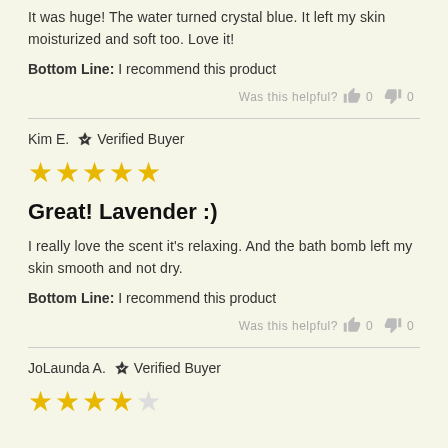It was huge! The water turned crystal blue. It left my skin moisturized and soft too. Love it!
Bottom Line: I recommend this product
Was this helpful? 0 0
Kim E. Verified Buyer
[Figure (other): 5 gold stars rating]
Great! Lavender :)
I really love the scent it's relaxing. And the bath bomb left my skin smooth and not dry.
Bottom Line: I recommend this product
Was this helpful? 0 0
JoLaunda A. Verified Buyer
[Figure (other): 4 gold stars rating (partial)]